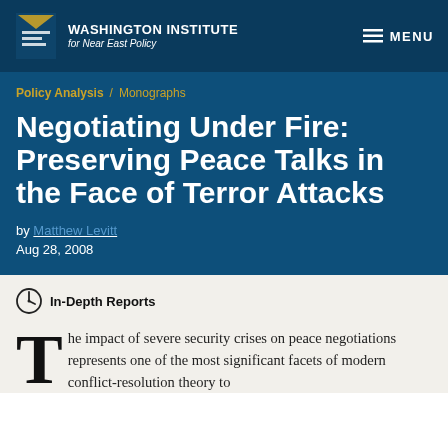THE WASHINGTON INSTITUTE for Near East Policy | MENU
Policy Analysis / Monographs
Negotiating Under Fire: Preserving Peace Talks in the Face of Terror Attacks
by Matthew Levitt
Aug 28, 2008
In-Depth Reports
The impact of severe security crises on peace negotiations represents one of the most significant facets of modern conflict-resolution theory to